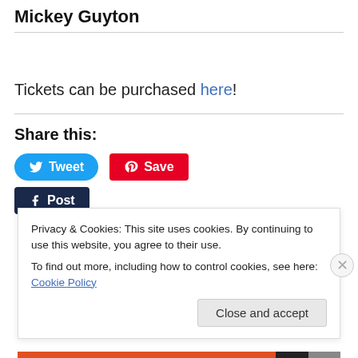Mickey Guyton
Tickets can be purchased here!
Share this:
[Figure (other): Social share buttons: Tweet (Twitter/blue), Save (Pinterest/red), Post (Facebook/dark navy)]
Privacy & Cookies: This site uses cookies. By continuing to use this website, you agree to their use.
To find out more, including how to control cookies, see here: Cookie Policy
Close and accept